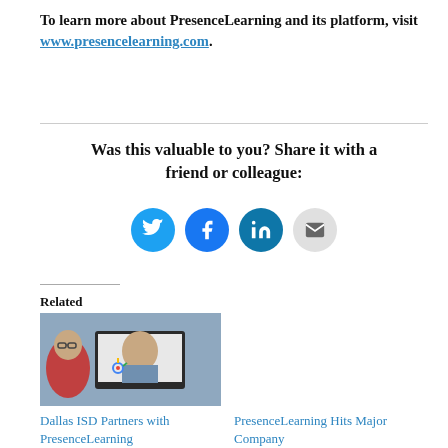To learn more about PresenceLearning and its platform, visit www.presencelearning.com.
Was this valuable to you? Share it with a friend or colleague:
[Figure (infographic): Social sharing icons: Twitter (blue circle), Facebook (blue circle), LinkedIn (dark teal circle), Email (light gray circle)]
Related
[Figure (photo): Photo showing a person (wearing red jacket and glasses) looking at a laptop screen with a video call showing another person (woman smiling)]
Dallas ISD Partners with PresenceLearning
PresenceLearning Hits Major Company